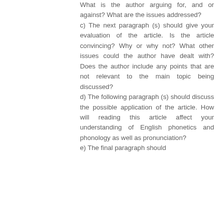What is the author arguing for, and or against? What are the issues addressed?
c) The next paragraph (s) should give your evaluation of the article. Is the article convincing? Why or why not? What other issues could the author have dealt with? Does the author include any points that are not relevant to the main topic being discussed?
d) The following paragraph (s) should discuss the possible application of the article. How will reading this article affect your understanding of English phonetics and phonology as well as pronunciation?
e) The final paragraph should